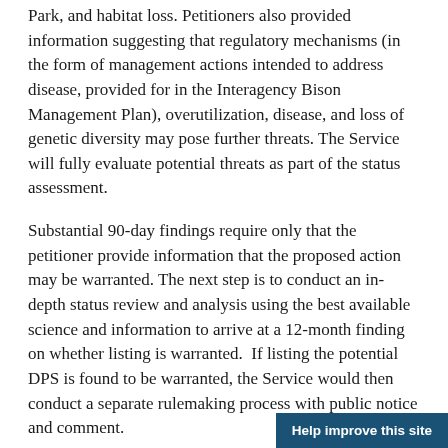Park, and habitat loss. Petitioners also provided information suggesting that regulatory mechanisms (in the form of management actions intended to address disease, provided for in the Interagency Bison Management Plan), overutilization, disease, and loss of genetic diversity may pose further threats. The Service will fully evaluate potential threats as part of the status assessment.
Substantial 90-day findings require only that the petitioner provide information that the proposed action may be warranted. The next step is to conduct an in-depth status review and analysis using the best available science and information to arrive at a 12-month finding on whether listing is warranted.  If listing the potential DPS is found to be warranted, the Service would then conduct a separate rulemaking process with public notice and comment.
Help improve this site